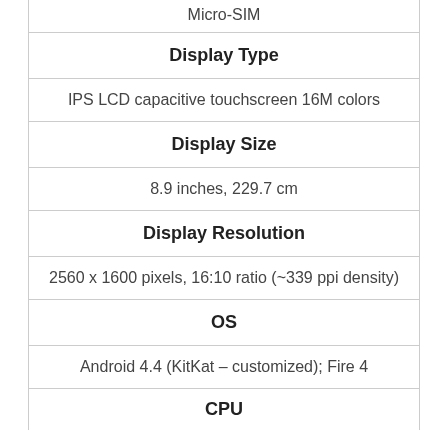Micro-SIM
Display Type
IPS LCD capacitive touchscreen 16M colors
Display Size
8.9 inches, 229.7 cm
Display Resolution
2560 x 1600 pixels, 16:10 ratio (~339 ppi density)
OS
Android 4.4 (KitKat – customized); Fire 4
CPU